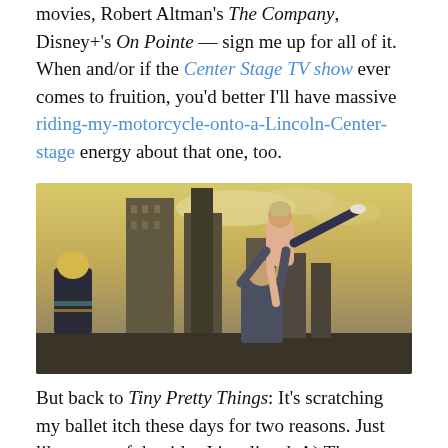movies, Robert Altman's The Company, Disney+'s On Pointe — sign me up for all of it. When and/or if the Center Stage TV show ever comes to fruition, you'd better I'll have massive riding-my-motorcycle-onto-a-Lincoln-Center-stage energy about that one, too.
[Figure (photo): A ballet lift scene outdoors with a city skyline in the background. A male dancer lifts a female dancer overhead, her leg extended high. Another male dancer with blonde hair stands to the left watching.]
But back to Tiny Pretty Things: It's scratching my ballet itch these days for two reasons. Just like many of the titles I just listed, A) The dancing is gorgeous. B) Pretty much everything else is a mess.